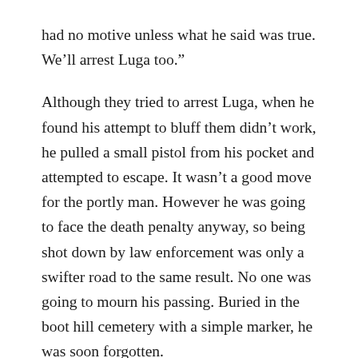had no motive unless what he said was true. We’ll arrest Luga too.”
Although they tried to arrest Luga, when he found his attempt to bluff them didn’t work, he pulled a small pistol from his pocket and attempted to escape. It wasn’t a good move for the portly man. However he was going to face the death penalty anyway, so being shot down by law enforcement was only a swifter road to the same result. No one was going to mourn his passing. Buried in the boot hill cemetery with a simple marker, he was soon forgotten.
The knife used on Adam was dirty which cause him to develop an infection. He had to spend a week under the doctor’s care. He never was a good patient for anyone,